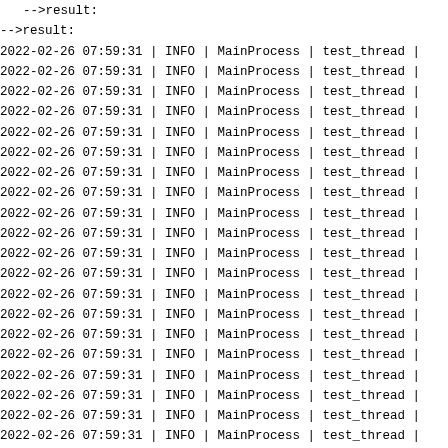-- >result :
-->result:
2022-02-26 07:59:31 | INFO | MainProcess | test_thread |
2022-02-26 07:59:31 | INFO | MainProcess | test_thread |
2022-02-26 07:59:31 | INFO | MainProcess | test_thread |
2022-02-26 07:59:31 | INFO | MainProcess | test_thread |
2022-02-26 07:59:31 | INFO | MainProcess | test_thread |
2022-02-26 07:59:31 | INFO | MainProcess | test_thread |
2022-02-26 07:59:31 | INFO | MainProcess | test_thread |
2022-02-26 07:59:31 | INFO | MainProcess | test_thread |
2022-02-26 07:59:31 | INFO | MainProcess | test_thread |
2022-02-26 07:59:31 | INFO | MainProcess | test_thread |
2022-02-26 07:59:31 | INFO | MainProcess | test_thread |
2022-02-26 07:59:31 | INFO | MainProcess | test_thread |
2022-02-26 07:59:31 | INFO | MainProcess | test_thread |
2022-02-26 07:59:31 | INFO | MainProcess | test_thread |
2022-02-26 07:59:31 | INFO | MainProcess | test_thread |
2022-02-26 07:59:31 | INFO | MainProcess | test_thread |
2022-02-26 07:59:31 | INFO | MainProcess | test_thread |
2022-02-26 07:59:31 | INFO | MainProcess | test_thread |
2022-02-26 07:59:31 | INFO | MainProcess | test_thread |
2022-02-26 07:59:31 | INFO | MainProcess | test_thread |
2022-02-26 07:59:31 | INFO | MainProcess | test_thread |
2022-02-26 07:59:31 | INFO | MainProcess | test_thread |
2022-02-26 07:59:31 | INFO | MainProcess | test_thread |
2022-02-26 07:59:31 | INFO | MainProcess | test_thread |
2022-02-26 07:59:31 | INFO | MainProcess | test_thread |
2022-02-26 07:59:32 | INFO | MainProcess | test_thread |
2022-02-26 07:59:32 | INFO | MainProcess | test_thread |
2022-02-26 07:59:32 | INFO | MainProcess | test_thread |
2022-02-26 07:59:32 | INFO | MainProcess | test_thread |